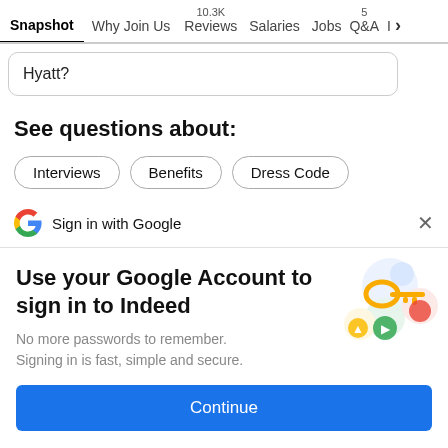Snapshot | Why Join Us | 10.3K Reviews | Salaries | Jobs | 5 Q&A | I >
Hyatt?
See questions about:
Interviews
Benefits
Dress Code
Sign in with Google
Use your Google Account to sign in to Indeed
No more passwords to remember.
Signing in is fast, simple and secure.
[Figure (illustration): Google key illustration with colorful circles]
Continue